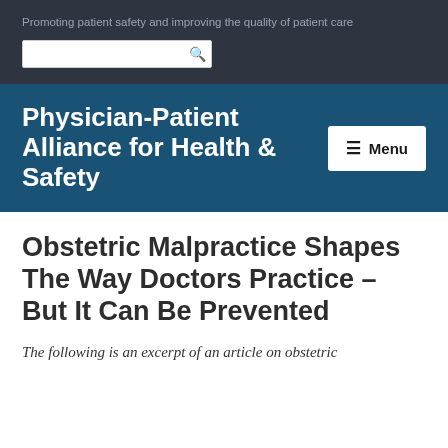Promoting patient safety and improving the quality of patient care
Physician-Patient Alliance for Health & Safety
≡ Menu
Obstetric Malpractice Shapes The Way Doctors Practice – But It Can Be Prevented
The following is an excerpt of an article on obstetric